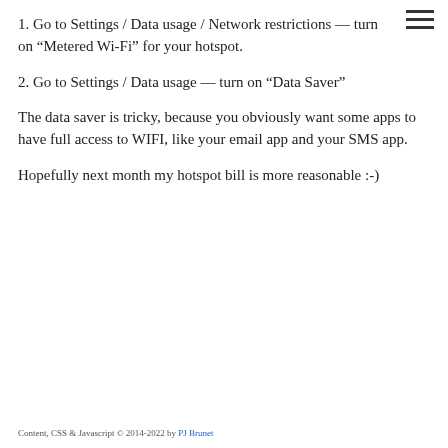1. Go to Settings / Data usage / Network restrictions — turn on “Metered Wi-Fi” for your hotspot.
2. Go to Settings / Data usage — turn on “Data Saver”
The data saver is tricky, because you obviously want some apps to have full access to WIFI, like your email app and your SMS app.
Hopefully next month my hotspot bill is more reasonable :-)
Content, CSS & Javascript © 2014-2022 by PJ Brunet